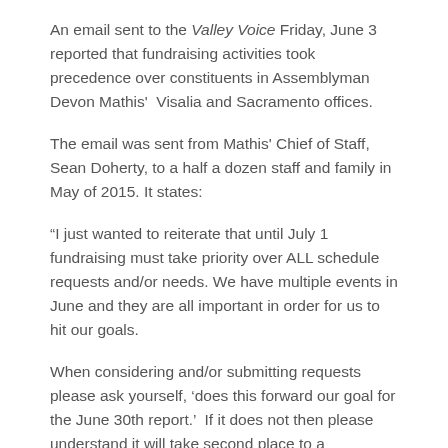An email sent to the Valley Voice Friday, June 3 reported that fundraising activities took precedence over constituents in Assemblyman Devon Mathis'  Visalia and Sacramento offices.
The email was sent from Mathis' Chief of Staff, Sean Doherty, to a half a dozen staff and family in May of 2015. It states:
“I just wanted to reiterate that until July 1 fundraising must take priority over ALL schedule requests and/or needs. We have multiple events in June and they are all important in order for us to hit our goals.
When considering and/or submitting requests please ask yourself, ‘does this forward our goal for the June 30th report.’  If it does not then please understand it will take second place to a fundraising opportunity.”